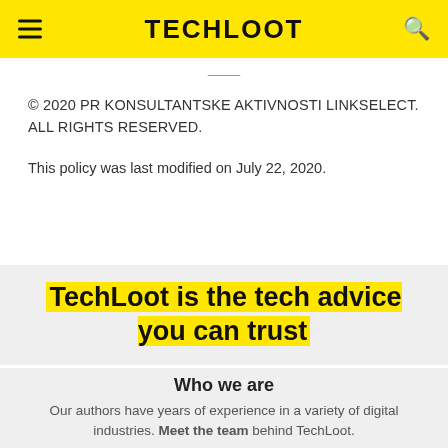TECHLOOT
© 2020 PR KONSULTANTSKE AKTIVNOSTI LINKSELECT. ALL RIGHTS RESERVED.
This policy was last modified on July 22, 2020.
TechLoot is the tech advice you can trust
Who we are
Our authors have years of experience in a variety of digital industries. Meet the team behind TechLoot.